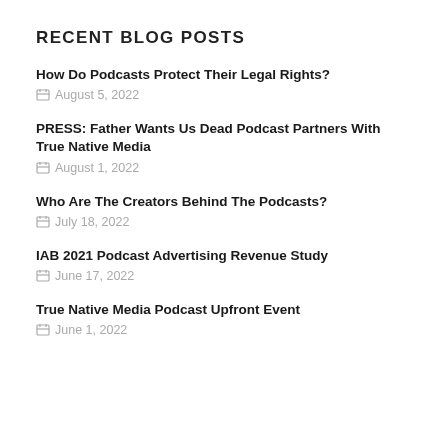RECENT BLOG POSTS
How Do Podcasts Protect Their Legal Rights?
August 5, 2022
PRESS: Father Wants Us Dead Podcast Partners With True Native Media
August 1, 2022
Who Are The Creators Behind The Podcasts?
July 18, 2022
IAB 2021 Podcast Advertising Revenue Study
June 17, 2022
True Native Media Podcast Upfront Event
June 1, 2022